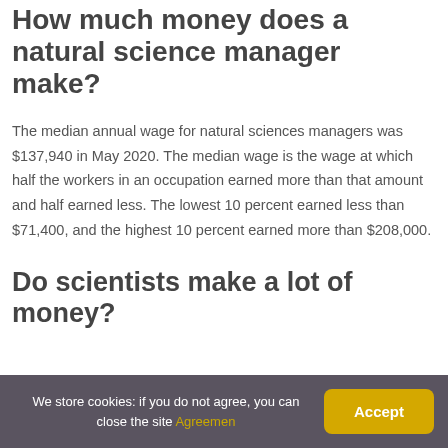How much money does a natural science manager make?
The median annual wage for natural sciences managers was $137,940 in May 2020. The median wage is the wage at which half the workers in an occupation earned more than that amount and half earned less. The lowest 10 percent earned less than $71,400, and the highest 10 percent earned more than $208,000.
Do scientists make a lot of money?
We store cookies: if you do not agree, you can close the site Agreemen Accept